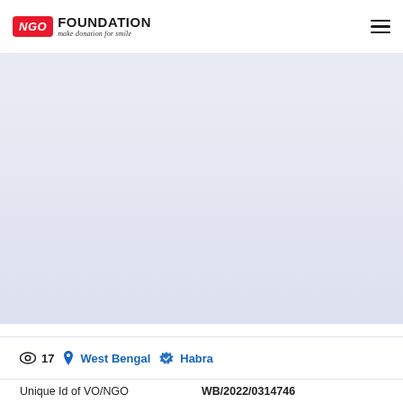[Figure (logo): NGO Foundation logo with red badge showing 'NGO' and bold text 'FOUNDATION' with tagline 'make donation for smile']
[Figure (other): Blue-grey banner/hero area (mostly empty, likely an image placeholder)]
17  West Bengal  Habra
Unique Id of VO/NGO   WB/2022/0314746